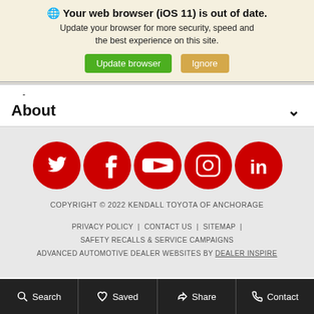🌐 Your web browser (iOS 11) is out of date. Update your browser for more security, speed and the best experience on this site. [Update browser] [Ignore]
About ✓
[Figure (illustration): Social media icons in red circles: Twitter, Facebook, YouTube, Instagram, LinkedIn]
COPYRIGHT © 2022 KENDALL TOYOTA OF ANCHORAGE
PRIVACY POLICY | CONTACT US | SITEMAP | SAFETY RECALLS & SERVICE CAMPAIGNS
ADVANCED AUTOMOTIVE DEALER WEBSITES BY DEALER INSPIRE
Search  Saved  Share  Contact